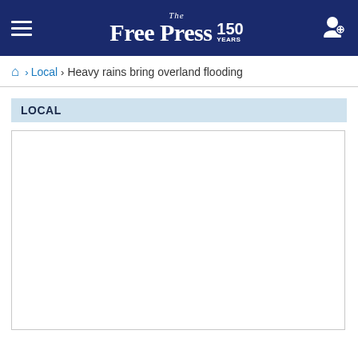The Free Press 150 Years
Home > Local > Heavy rains bring overland flooding
LOCAL
[Figure (photo): Article image placeholder — white box with border, no image loaded]